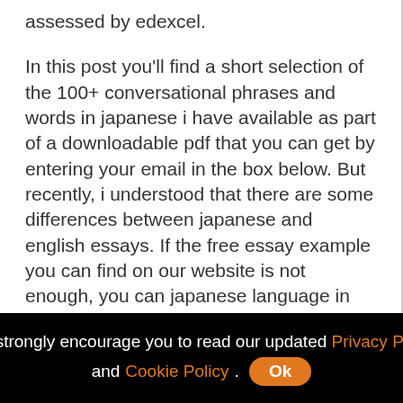assessed by edexcel.
In this post you'll find a short selection of the 100+ conversational phrases and words in japanese i have available as part of a downloadable pdf that you can get by entering your email in the box below. But recently, i understood that there are some differences between japanese and english essays. If the free essay example you can find on our website is not enough, you can japanese language in contemporary japan:
Hi all, my name amar and this his is my first post, though i have been using wanikani to supplement my studies for about a year now. It was a piece of cake (well, no, but once you do, everything else lying ahead
We strongly encourage you to read our updated Privacy Policy and Cookie Policy. Ok